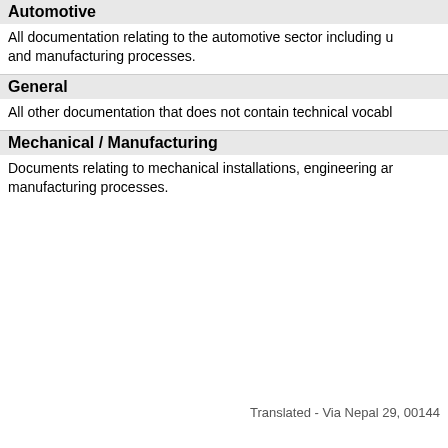Automotive
All documentation relating to the automotive sector including u and manufacturing processes.
General
All other documentation that does not contain technical vocabl
Mechanical / Manufacturing
Documents relating to mechanical installations, engineering ar manufacturing processes.
Translated - Via Nepal 29, 00144